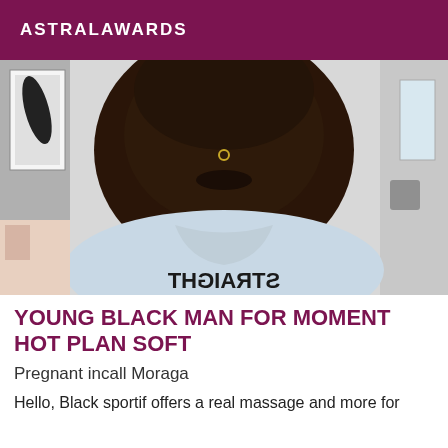ASTRALAWARDS
[Figure (photo): Close-up selfie photo of a young Black person with a nose ring, wearing a light blue graphic t-shirt, taken indoors with artwork visible in background]
YOUNG BLACK MAN FOR MOMENT HOT PLAN SOFT
Pregnant incall Moraga
Hello, Black sportif offers a real massage and more for